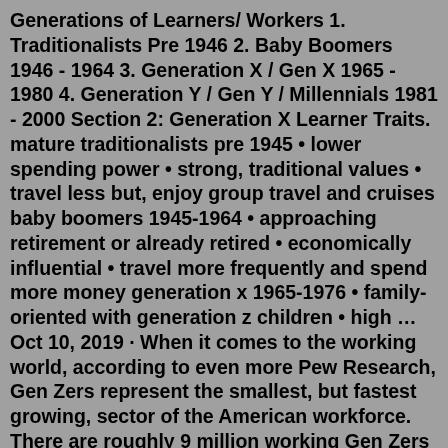Generations of Learners/ Workers 1. Traditionalists Pre 1946 2. Baby Boomers 1946 - 1964 3. Generation X / Gen X 1965 - 1980 4. Generation Y / Gen Y / Millennials 1981 - 2000 Section 2: Generation X Learner Traits. mature traditionalists pre 1945 • lower spending power • strong, traditional values • travel less but, enjoy group travel and cruises baby boomers 1945-1964 • approaching retirement or already retired • economically influential • travel more frequently and spend more money generation x 1965-1976 • family-oriented with generation z children • high …Oct 10, 2019 · When it comes to the working world, according to even more Pew Research, Gen Zers represent the smallest, but fastest growing, sector of the American workforce. There are roughly 9 million working Gen Zers comprising 5% of the total working population. Of note, Gen Z is the most racially and ethnically diverse generation in U.S. history. Oct 01, 2021 · Now, playrooms, nurseries and pantries across America are donned with children's products with transparency, quality, lists, and tests